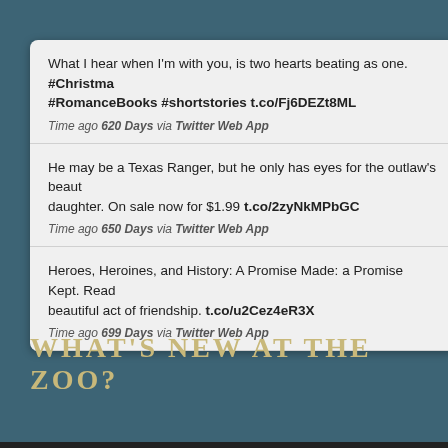What I hear when I'm with you, is two hearts beating as one. #Christmas #RomanceBooks #shortstories t.co/Fj6DEZt8ML
Time ago 620 Days via Twitter Web App
He may be a Texas Ranger, but he only has eyes for the outlaw's beautiful daughter. On sale now for $1.99 t.co/2zyNkMPbGC
Time ago 650 Days via Twitter Web App
Heroes, Heroines, and History: A Promise Made: a Promise Kept. Read a beautiful act of friendship. t.co/u2Cez4eR3X
Time ago 699 Days via Twitter Web App
Follow @margaretbrownly on twitter.
WHAT'S NEW AT THE ZOO?